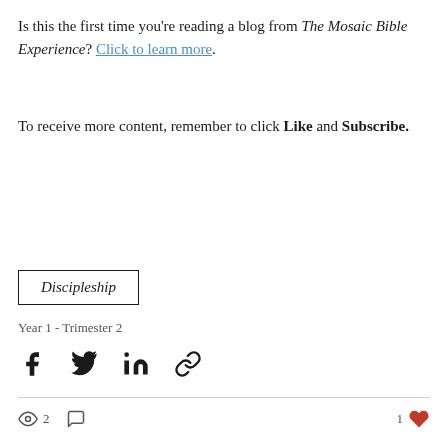Is this the first time you're reading a blog from The Mosaic Bible Experience? Click to learn more.
To receive more content, remember to click Like and Subscribe.
Discipleship
Year 1 - Trimester 2
[Figure (infographic): Social share icons: Facebook, Twitter, LinkedIn, Link]
2 views, 0 comments, 1 like